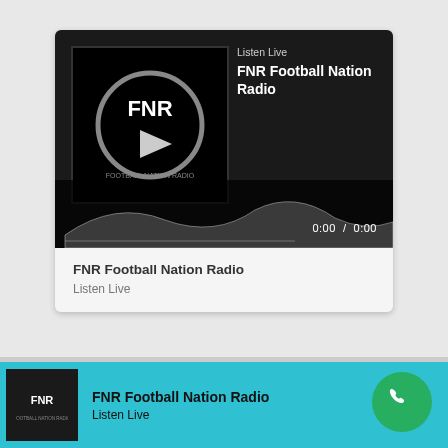[Figure (screenshot): Media player card showing FNR Football Nation Radio with logo, Listen Live label, station title, waveform, and time display 0:00 / 0:00]
FNR Football Nation Radio
Listen Live
DOWNLOAD THE FNR APP
[Figure (logo): FNR Football Nation Radio logo in bottom bar]
FNR Football Nation Radio
Listen Live